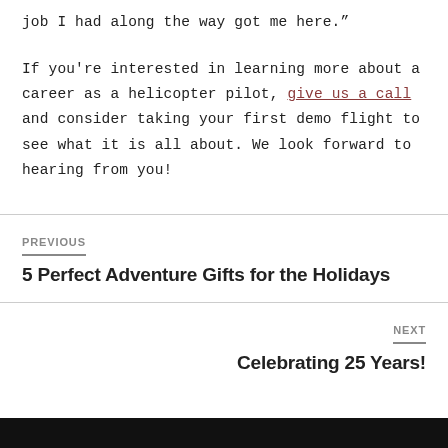job I had along the way got me here."
If you're interested in learning more about a career as a helicopter pilot, give us a call and consider taking your first demo flight to see what it is all about. We look forward to hearing from you!
PREVIOUS
5 Perfect Adventure Gifts for the Holidays
NEXT
Celebrating 25 Years!